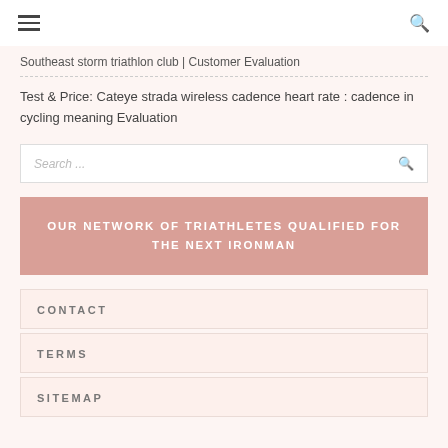Southeast storm triathlon club | Customer Evaluation
Test & Price: Cateye strada wireless cadence heart rate : cadence in cycling meaning Evaluation
Search ...
OUR NETWORK OF TRIATHLETES QUALIFIED FOR THE NEXT IRONMAN
CONTACT
TERMS
SITEMAP